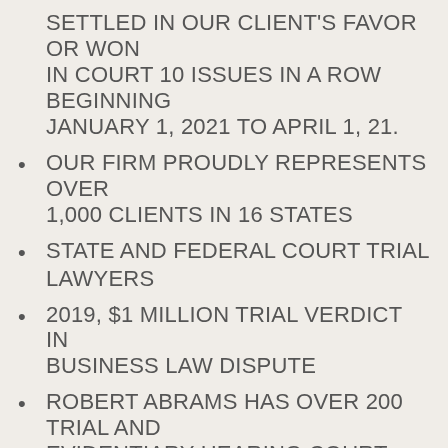SETTLED IN OUR CLIENT'S FAVOR OR WON IN COURT 10 ISSUES IN A ROW BEGINNING JANUARY 1, 2021 TO APRIL 1, 21.
OUR FIRM PROUDLY REPRESENTS OVER 1,000 CLIENTS IN 16 STATES
STATE AND FEDERAL COURT TRIAL LAWYERS
2019, $1 MILLION TRIAL VERDICT IN BUSINESS LAW DISPUTE
ROBERT ABRAMS HAS OVER 200 TRIAL AND EVIDENTIARY HEARING COURT APPEARANCES
2016, 26TH LARGEST JURY VERDICT OF ALL LAWSUITS FILED BY ALL LAW FIRMS IN